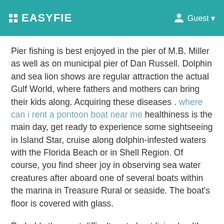EASYFIE   Guest
Pier fishing is best enjoyed in the pier of M.B. Miller as well as on municipal pier of Dan Russell. Dolphin and sea lion shows are regular attraction the actual Gulf World, where fathers and mothers can bring their kids along. Acquiring these diseases . where can i rent a pontoon boat near me healthiness is the main day, get ready to experience some sightseeing in Island Star, cruise along dolphin-infested waters with the Florida Beach or in Shell Region. Of course, you find sheer joy in observing sea water creatures after aboard one of several boats within the marina in Treasure Rural or seaside. The boat's floor is covered with glass.
Probably the most difficult part about living healthy on vacation is the fact that you are leaving home. Where do you eat when an